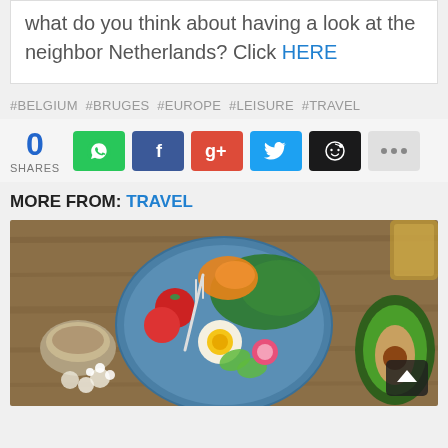what do you think about having a look at the neighbor Netherlands? Click HERE
#BELGIUM #BRUGES #EUROPE #LEISURE #TRAVEL
[Figure (infographic): Share bar showing 0 shares and social media buttons: WhatsApp (green), Facebook (blue), Google+ (red), Twitter (cyan), Reddit (dark), More (grey dots)]
MORE FROM: TRAVEL
[Figure (photo): Overhead photo of a colorful salad bowl with eggs, tomatoes, avocado, greens, and a small bowl of seeds on a wooden table]